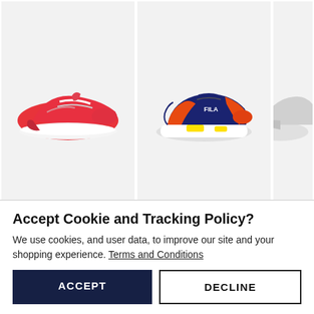[Figure (photo): Little Kids red Renno sneaker on light gray background]
[Figure (photo): Little Kids navy/orange Fila Ray Tracer sneaker on light gray background]
[Figure (photo): Partial view of a third Little Kids sneaker, cropped]
Little Kids' Renno
Little Kids' Ray Tracer
Little
Accept Cookie and Tracking Policy?
We use cookies, and user data, to improve our site and your shopping experience. Terms and Conditions
ACCEPT
DECLINE